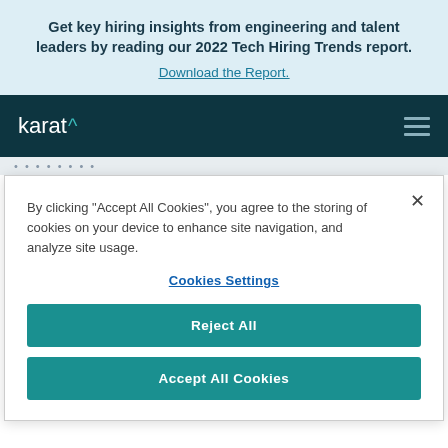Get key hiring insights from engineering and talent leaders by reading our 2022 Tech Hiring Trends report.
Download the Report.
[Figure (logo): Karat logo with caret symbol and hamburger menu icon on dark teal navigation bar]
By clicking “Accept All Cookies”, you agree to the storing of cookies on your device to enhance site navigation, and analyze site usage.
Cookies Settings
Reject All
Accept All Cookies